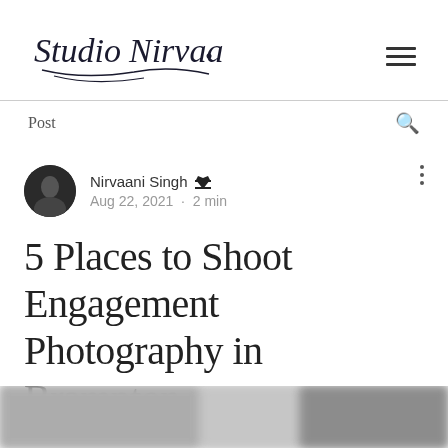Studio Nirvaan [logo]
Post
Nirvaani Singh [admin] · Aug 22, 2021 · 2 min
5 Places to Shoot Engagement Photography in Brampton
[Figure (photo): Blurred photographic image at the bottom of the page]